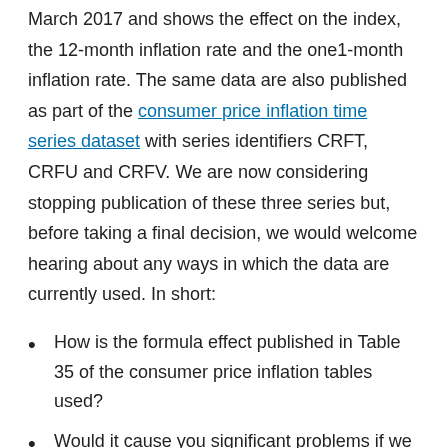March 2017 and shows the effect on the index, the 12-month inflation rate and the one1-month inflation rate. The same data are also published as part of the consumer price inflation time series dataset with series identifiers CRFT, CRFU and CRFV. We are now considering stopping publication of these three series but, before taking a final decision, we would welcome hearing about any ways in which the data are currently used. In short:
How is the formula effect published in Table 35 of the consumer price inflation tables used?
Would it cause you significant problems if we were to discontinue publishing the three series?